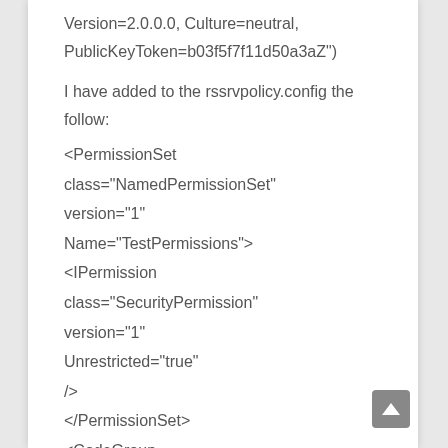Version=2.0.0.0, Culture=neutral, PublicKeyToken=b03f5f7f11d50a3aZ")
I have added to the rssrvpolicy.config the follow:
<PermissionSet
class="NamedPermissionSet"
version="1"
Name="TestPermissions">
<IPermission
class="SecurityPermission"
version="1"
Unrestricted="true"
/>
</PermissionSet>
<CodeGroup